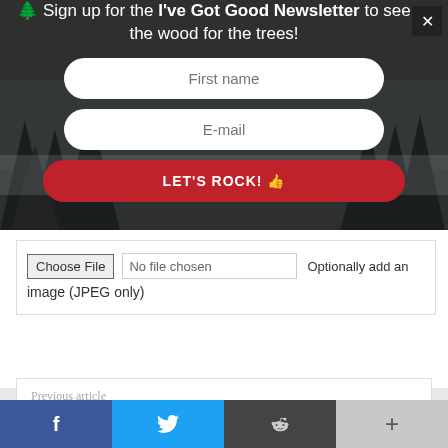[Figure (screenshot): Newsletter signup banner with dark forest background, showing tree emoji, title text, two input fields (First name, E-mail), and a red LET'S ROCK! submit button, with a close X button in top right]
Choose File   No file chosen      Optionally add an image (JPEG only)
Previous article
[Figure (screenshot): Bottom social sharing bar with Facebook, Twitter, Reddit, and plus buttons]